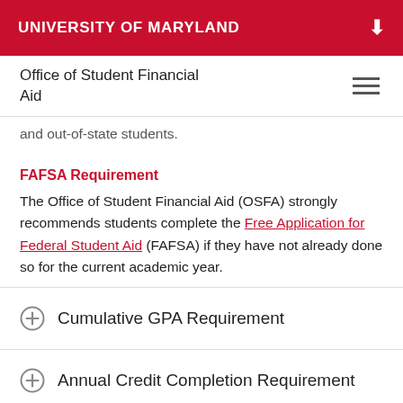UNIVERSITY OF MARYLAND
Office of Student Financial Aid
and out-of-state students.
FAFSA Requirement
The Office of Student Financial Aid (OSFA) strongly recommends students complete the Free Application for Federal Student Aid (FAFSA) if they have not already done so for the current academic year.
Cumulative GPA Requirement
Annual Credit Completion Requirement